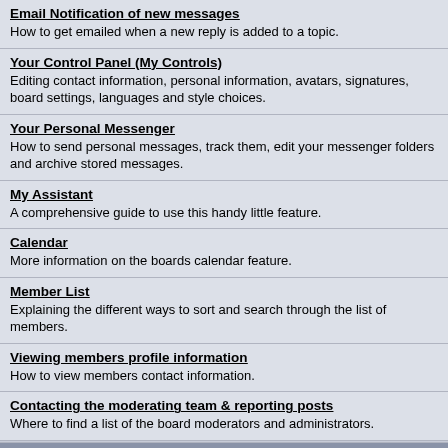Email Notification of new messages
How to get emailed when a new reply is added to a topic.
Your Control Panel (My Controls)
Editing contact information, personal information, avatars, signatures, board settings, languages and style choices.
Your Personal Messenger
How to send personal messages, track them, edit your messenger folders and archive stored messages.
My Assistant
A comprehensive guide to use this handy little feature.
Calendar
More information on the boards calendar feature.
Member List
Explaining the different ways to sort and search through the list of members.
Viewing members profile information
How to view members contact information.
Contacting the moderating team & reporting posts
Where to find a list of the board moderators and administrators.
.::Phiên bản rút gọn::.   Thời gian bây giờ là: 29th August 2022 - 03:51 PM
Powered By IP.Board 2.2.1 © 2022  IPS, Inc.